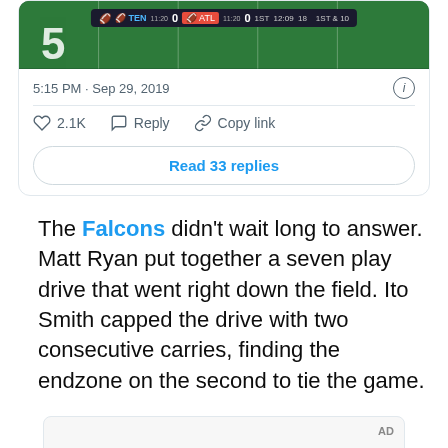[Figure (screenshot): Screenshot of a tweet showing a football game scoreboard: TEN 0 vs ATL 0, 1ST 12:09 18, 1ST & 10, with a football field image showing a yard marker '5'.]
5:15 PM · Sep 29, 2019
♡ 2.1K  Reply  Copy link
Read 33 replies
The Falcons didn't wait long to answer. Matt Ryan put together a seven play drive that went right down the field. Ito Smith capped the drive with two consecutive carries, finding the endzone on the second to tie the game.
[Figure (screenshot): AD container with dark image strip at the bottom]